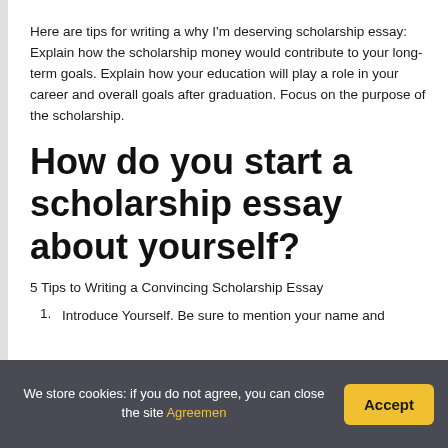Here are tips for writing a why I'm deserving scholarship essay: Explain how the scholarship money would contribute to your long-term goals. Explain how your education will play a role in your career and overall goals after graduation. Focus on the purpose of the scholarship.
How do you start a scholarship essay about yourself?
5 Tips to Writing a Convincing Scholarship Essay
1. Introduce Yourself. Be sure to mention your name and
We store cookies: if you do not agree, you can close the site Agreemen